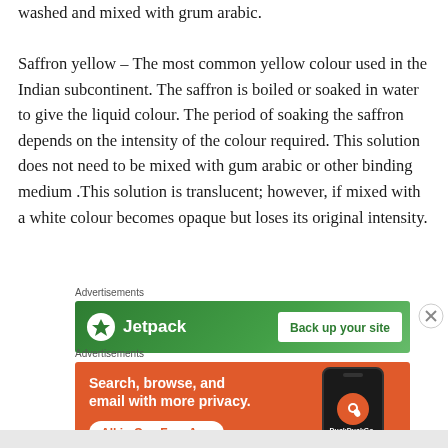washed and mixed with grum arabic.

Saffron yellow – The most common yellow colour used in the Indian subcontinent. The saffron is boiled or soaked in water to give the liquid colour. The period of soaking the saffron depends on the intensity of the colour required. This solution does not need to be mixed with gum arabic or other binding medium .This solution is translucent; however, if mixed with a white colour becomes opaque but loses its original intensity.
[Figure (screenshot): Jetpack advertisement banner with green background showing Jetpack logo and 'Back up your site' call to action button]
[Figure (screenshot): DuckDuckGo advertisement banner with orange background showing 'Search, browse, and email with more privacy. All in One Free App' text and DuckDuckGo logo on phone mockup]